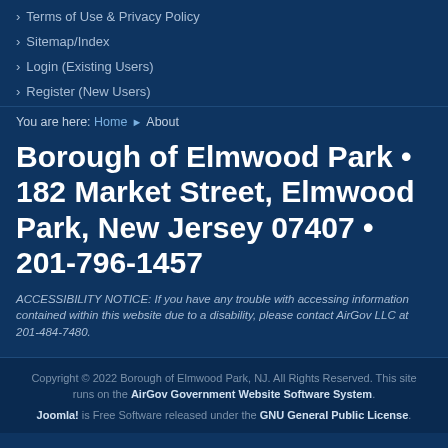Terms of Use & Privacy Policy
Sitemap/Index
Login (Existing Users)
Register (New Users)
You are here: Home › About
Borough of Elmwood Park • 182 Market Street, Elmwood Park, New Jersey 07407 • 201-796-1457
ACCESSIBILITY NOTICE: If you have any trouble with accessing information contained within this website due to a disability, please contact AirGov LLC at 201-484-7480.
Copyright © 2022 Borough of Elmwood Park, NJ. All Rights Reserved. This site runs on the AirGov Government Website Software System. Joomla! is Free Software released under the GNU General Public License.